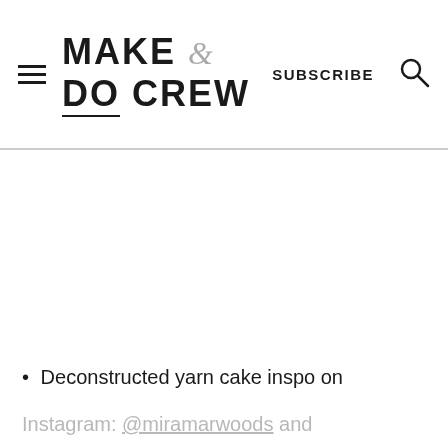MAKE & DO CREW | SUBSCRIBE
Deconstructed yarn cake inspo on
Instagram: @miramarwoods and